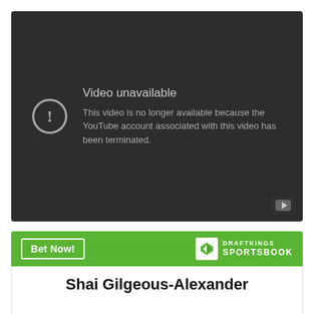[Figure (screenshot): YouTube 'Video unavailable' error screen on a dark background. An exclamation mark icon in a circle appears on the left, with text 'Video unavailable' and 'This video is no longer available because the YouTube account associated with this video has been terminated.' A small YouTube play button icon is in the bottom-right corner.]
[Figure (logo): DraftKings Sportsbook green banner with 'Bet Now!' button on the left and DraftKings Sportsbook logo on the right.]
Shai Gilgeous-Alexander